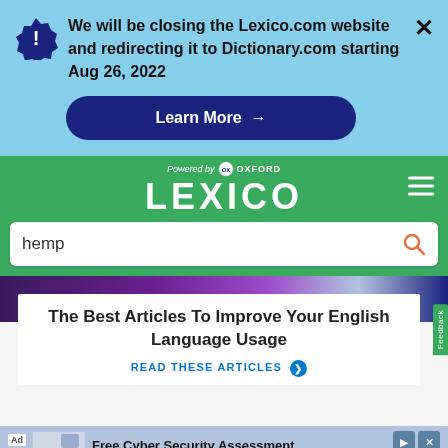We will be closing the Lexico.com website and redirecting it to Dictionary.com starting Aug 26, 2022
Learn More →
[Figure (logo): Lexico logo with 'Powered by Oxford' tagline on green background]
hemp
The Best Articles To Improve Your English Language Usage
READ THESE ARTICLES ❯
Ad Free Cyber Security Assessment V2 Systems Open